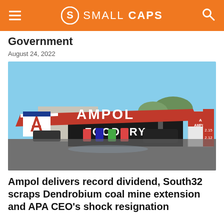SMALL CAPS
Government
August 24, 2022
[Figure (photo): Ampol petrol station with red canopy showing AMPOL branding, FOODARY convenience store in background, fuel pumps visible, suburban Australian setting]
Ampol delivers record dividend, South32 scraps Dendrobium coal mine extension and APA CEO's shock resignation